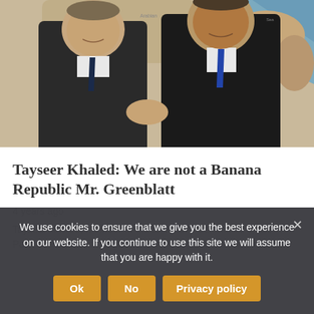[Figure (photo): Two men in suits shaking hands in front of a map of the Middle East. One man on the left wears a dark suit with a patterned tie, the other on the right wears a dark suit with a blue tie.]
Tayseer Khaled: We are not a Banana Republic Mr. Greenblatt
4 years ago
Tayseer Khaled, member of the Executive Committee of the Palestine Liberation Organization (PLO), said that the American
We use cookies to ensure that we give you the best experience on our website. If you continue to use this site we will assume that you are happy with it.